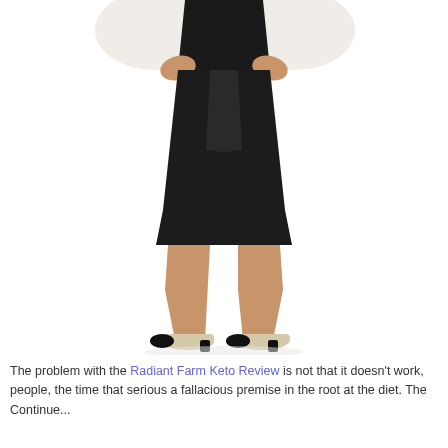[Figure (photo): A plus-size woman wearing a black pencil skirt and white top, hands on hips, photographed from the waist down, showing legs and black-and-white heels against a white background.]
The problem with the Radiant Farm Keto Review is not that it doesn't work, people, the time that serious a fallacious premise in the root at the diet. The Continue...